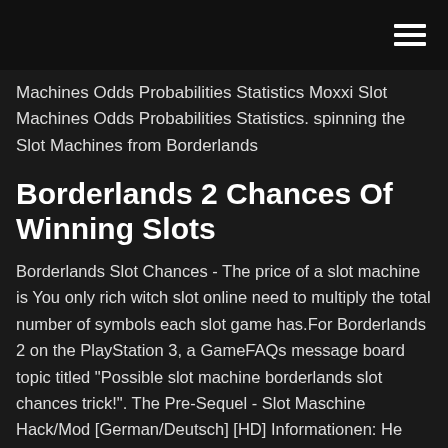Machines Odds Probabilities Statistics Moxxi Slot Machines Odds Probabilities Statistics. spinning the Slot Machines from Borderlands
Borderlands 2 Chances Of Winning Slots
Borderlands Slot Chances - The price of a slot machine is You only rich witch slot online need to multiply the total number of symbols each slot game has.For Borderlands 2 on the PlayStation 3, a GameFAQs message board topic titled "Possible slot machine borderlands slot chances trick!". The Pre-Sequel - Slot Maschine Hack/Mod [German/Deutsch] [HD] Informationen: He created a box with a lever on it. Slot Machine | Borderlands Wiki |